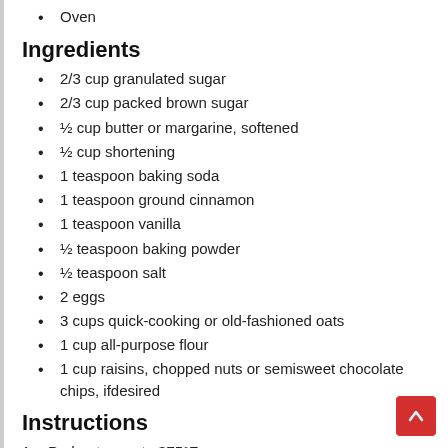Oven
Ingredients
2/3 cup granulated sugar
2/3 cup packed brown sugar
½ cup butter or margarine, softened
½ cup shortening
1 teaspoon baking soda
1 teaspoon ground cinnamon
1 teaspoon vanilla
½ teaspoon baking powder
½ teaspoon salt
2 eggs
3 cups quick-cooking or old-fashioned oats
1 cup all-purpose flour
1 cup raisins, chopped nuts or semisweet chocolate chips, ifdesired
Instructions
Preheat oven to 375°F.